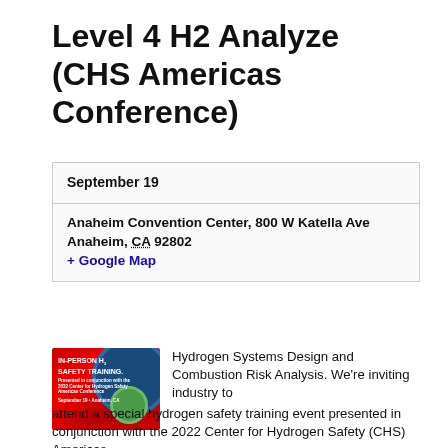Level 4 H2 Analyze (CHS Americas Conference)
| September 19 |
| Anaheim Convention Center, 800 W Katella Ave
Anaheim, CA 92802
+ Google Map |
[Figure (photo): Red promotional image for In-Person H2 Safety Training event with circular design elements in blue and green]
Hydrogen Systems Design and Combustion Risk Analysis. We're inviting industry to attend a special hydrogen safety training event presented in conjunction with the 2022 Center for Hydrogen Safety (CHS) Americas